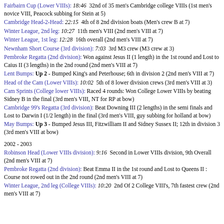Fairbairn Cup (Lower VIIIs): 18:46  32nd of 35 men's Cambridge college VIIIs (1st men's novice VIII, Peacock subbing for Stein at 5)
Cambridge Head-2-Head: 22:15  4th of 8 2nd division boats (Men's crew B at 7)
Winter League, 2nd leg: 10:27  11th men's VIII (2nd men's VIII at 7)
Winter League, 1st leg: 12:28  16th overall (2nd men's VIII at 7)
Newnham Short Course (3rd division): 7:03  3rd M3 crew (M3 crew at 3)
Pembroke Regatta (2nd division): Won against Jesus II (1 length) in the 1st round and Lost to Caius II (3 lengths) in the 2nd round (2nd men's VIII at 7)
Lent Bumps: Up 2 - Bumped King's and Peterhouse; 6th in division 2 (2nd men's VIII at 7)
Head of the Cam (Lower VIIIs): 10:02  5th of 8 lower division crews (3rd men's VIII at 3)
Cam Sprints (College lower VIIIs): Raced 4 rounds: Won College Lower VIIIs by beating Sidney B in the final (3rd men's VIII, NT for RP at bow)
Cambridge 99's Regatta (3rd division): Beat Downing III (2 lengths) in the semi finals and Lost to Darwin I (1/2 length) in the final (3rd men's VIII, guy subbing for holland at bow)
May Bumps: Up 3 - Bumped Jesus III, Fitzwilliam II and Sidney Sussex II; 12th in division 3 (3rd men's VIII at bow)
2002 - 2003
Robinson Head (Lower VIIIs division): 9:16  Second in Lower VIIIs division, 9th Overall (2nd men's VIII at 7)
Pembroke Regatta (2nd division): Beat Emma II in the 1st round and Lost to Queens II : Course not rowed out in the 2nd round (2nd men's VIII at 7)
Winter League, 2nd leg (College VIIIs): 10:20  2nd Of 2 College VIII's, 7th fastest crew (2nd men's VIII at 7)